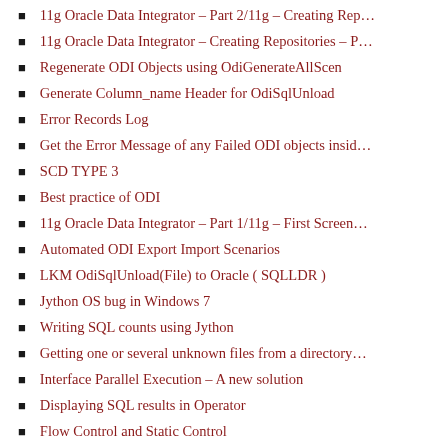11g Oracle Data Integrator – Part 2/11g – Creating Rep…
11g Oracle Data Integrator – Creating Repositories – P…
Regenerate ODI Objects using OdiGenerateAllScen
Generate Column_name Header for OdiSqlUnload
Error Records Log
Get the Error Message of any Failed ODI objects insid…
SCD TYPE 3
Best practice of ODI
11g Oracle Data Integrator – Part 1/11g – First Screen…
Automated ODI Export Import Scenarios
LKM OdiSqlUnload(File) to Oracle ( SQLLDR )
Jython OS bug in Windows 7
Writing SQL counts using Jython
Getting one or several unknown files from a directory…
Interface Parallel Execution – A new solution
Displaying SQL results in Operator
Flow Control and Static Control
…